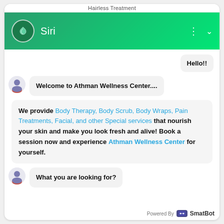Hairless Treatment
[Figure (screenshot): Chat interface header with Athman Wellness Center bot named Siri, green gradient background with logo]
Hello!!
Welcome to Athman Wellness Center....
We provide Body Therapy, Body Scrub, Body Wraps, Pain Treatments, Facial, and other Special services that nourish your skin and make you look fresh and alive! Book a session now and experience Athman Wellness Center for yourself.
What you are looking for?
Powered By SmatBot